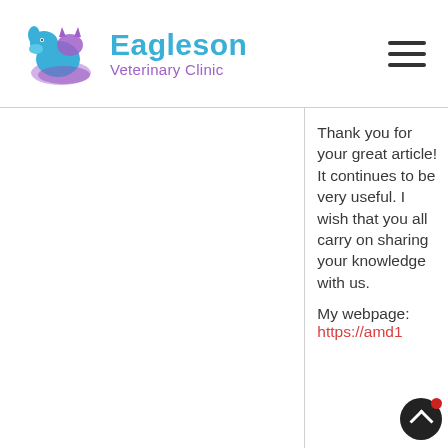Eagleson Veterinary Clinic
Thank you for your great article! It continues to be very useful. I wish that you all carry on sharing your knowledge with us.
My webpage: https://amd1